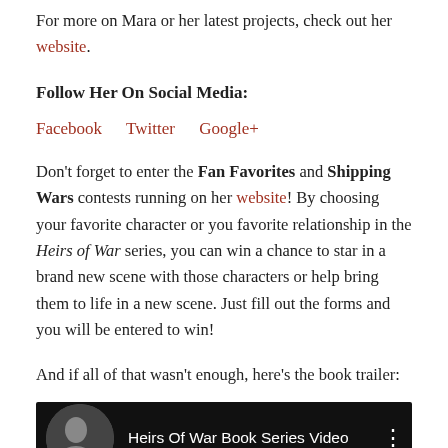For more on Mara or her latest projects, check out her website.
Follow Her On Social Media:
Facebook   Twitter   Google+
Don't forget to enter the Fan Favorites and Shipping Wars contests running on her website! By choosing your favorite character or you favorite relationship in the Heirs of War series, you can win a chance to star in a brand new scene with those characters or help bring them to life in a new scene. Just fill out the forms and you will be entered to win!
And if all of that wasn't enough, here's the book trailer:
[Figure (screenshot): YouTube-style video thumbnail with dark background showing 'Heirs Of War Book Series Video' title with a circular profile image thumbnail on left and three-dot menu on right]